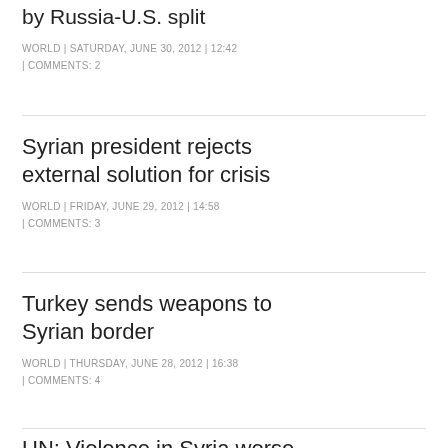by Russia-U.S. split
WORLD | SATURDAY, JUNE 30, 2012 | 12:42 | COMMENTS: 2
Syrian president rejects external solution for crisis
WORLD | FRIDAY, JUNE 29, 2012 | 14:58 | COMMENTS: 3
Turkey sends weapons to Syrian border
WORLD | THURSDAY, JUNE 28, 2012 | 16:38 | COMMENTS: 4
UN: Violence in Syria worse